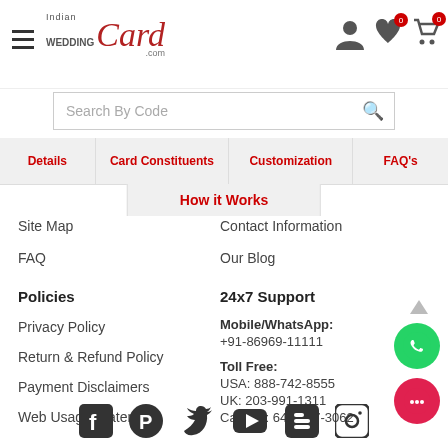Indian Wedding Card .com
Search By Code
Details | Card Constituents | Customization | FAQ's
How it Works
Site Map
Contact Information
FAQ
Our Blog
Policies
24x7 Support
Privacy Policy
Mobile/WhatsApp: +91-86969-11111
Return & Refund Policy
Toll Free: USA: 888-742-8555  UK: 203-991-1311  Canada: 647-247-3062
Payment Disclaimers
Web Usage Statement
[Figure (illustration): Social media icons row: Facebook, Pinterest, Twitter, YouTube, Blogger, Instagram]